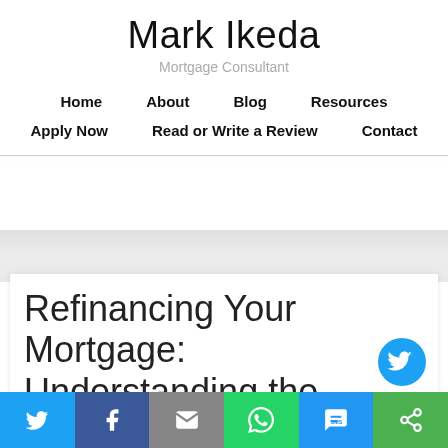Mark Ikeda
Mortgage Consultant
Home  About  Blog  Resources  Apply Now  Read or Write a Review  Contact
Refinancing Your Mortgage: Understanding the